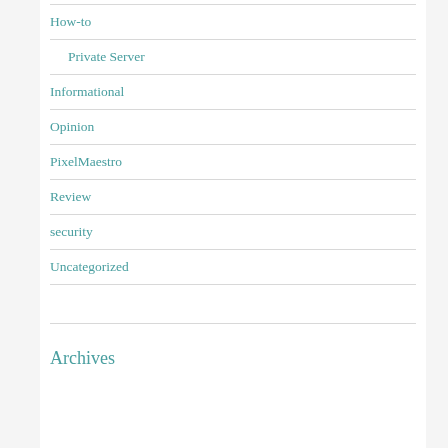How-to
Private Server
Informational
Opinion
PixelMaestro
Review
security
Uncategorized
Archives